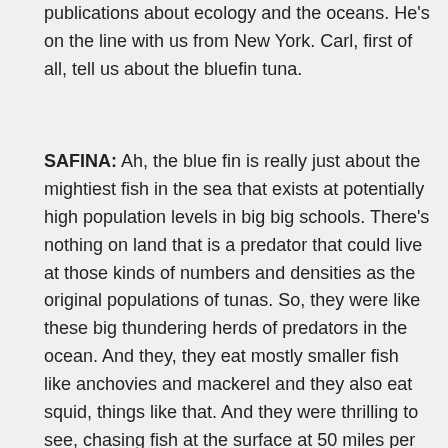publications about ecology and the oceans. He's on the line with us from New York. Carl, first of all, tell us about the bluefin tuna.
SAFINA: Ah, the blue fin is really just about the mightiest fish in the sea that exists at potentially high population levels in big big schools. There's nothing on land that is a predator that could live at those kinds of numbers and densities as the original populations of tunas. So, they were like these big thundering herds of predators in the ocean. And they, they eat mostly smaller fish like anchovies and mackerel and they also eat squid, things like that. And they were thrilling to see, chasing fish at the surface at 50 miles per hour and shredding the surface white in big schools, vaulting into the air, crashing down with big explosions. They really were just one of the most thrilling sights in the entire ocean.